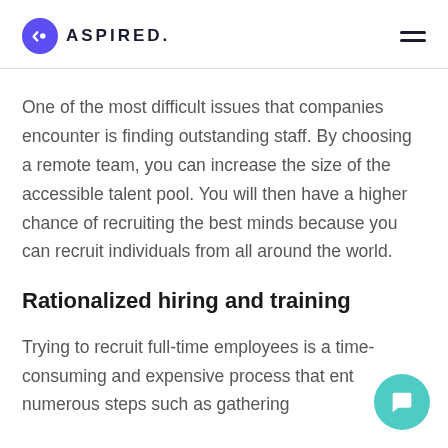ASPIRED.
One of the most difficult issues that companies encounter is finding outstanding staff. By choosing a remote team, you can increase the size of the accessible talent pool. You will then have a higher chance of recruiting the best minds because you can recruit individuals from all around the world.
Rationalized hiring and training
Trying to recruit full-time employees is a time-consuming and expensive process that ent numerous steps such as gathering applications...